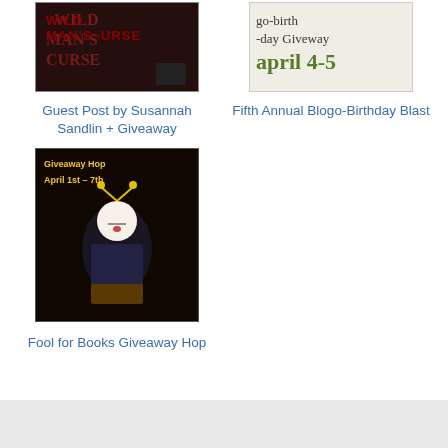[Figure (photo): Book cover for Wild Man's Curse]
[Figure (photo): Go-Birthday Giveaway April 4-5 promotional image]
Guest Post by Susannah Sandlin + Giveaway
Fifth Annual Blogo-Birthday Blast
[Figure (photo): Fool for Books Giveaway Hop April 1st - 7th promotional image with jester figure]
Fool for Books Giveaway Hop